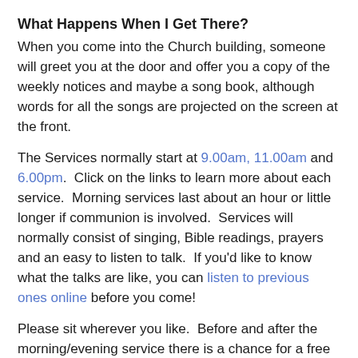What Happens When I Get There?
When you come into the Church building, someone will greet you at the door and offer you a copy of the weekly notices and maybe a song book, although words for all the songs are projected on the screen at the front.
The Services normally start at 9.00am, 11.00am and 6.00pm.  Click on the links to learn more about each service.  Morning services last about an hour or little longer if communion is involved.  Services will normally consist of singing, Bible readings, prayers and an easy to listen to talk.  If you'd like to know what the talks are like, you can listen to previous ones online before you come!
Please sit wherever you like.  Before and after the morning/evening service there is a chance for a free coffee or tea, and an opportunity to meet members of the Ministry Team.
Is There Anything For My Children?